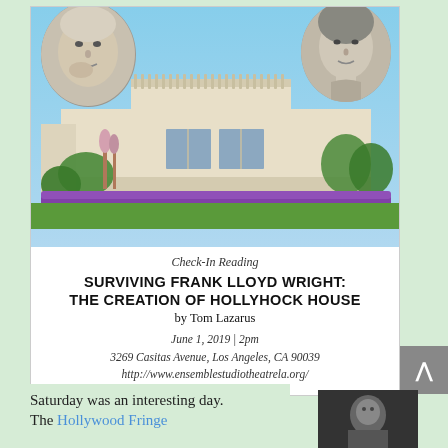[Figure (illustration): Event poster for 'Surviving Frank Lloyd Wright: The Creation of Hollyhock House' by Tom Lazarus. Shows a photograph of Hollyhock House (a Frank Lloyd Wright designed building) with blue sky, purple flowers in the foreground, and circular portrait photos of two people (presumably Frank Lloyd Wright and Aline Barnsdall) overlaid at the top. Below the building image is event text.]
Check-In Reading
SURVIVING FRANK LLOYD WRIGHT: THE CREATION OF HOLLYHOCK HOUSE by Tom Lazarus
June 1, 2019 | 2pm
3269 Casitas Avenue, Los Angeles, CA 90039
http://www.ensemblestudiotheatrela.org/
Saturday was an interesting day. The Hollywood Fringe
[Figure (photo): Small dark photo thumbnail in bottom right corner, appears to show a person]